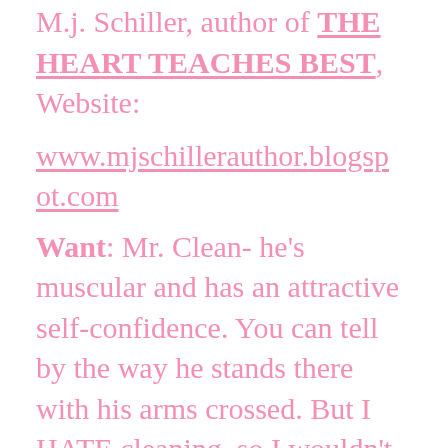M.J. Schiller, author of THE HEART TEACHES BEST, Website:
www.mjschillerauthor.blogspot.com
Want: Mr. Clean- he's muscular and has an attractive self-confidence. You can tell by the way he stands there with his arms crossed. But I HATE cleaning, so I wouldn't keep him around long.
Wed: The Brownie Man, I...